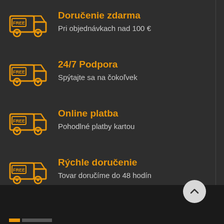Doručenie zdarma — Pri objednávkach nad 100 €
24/7 Podpora — Spýtajte sa na čokoľvek
Online platba — Pohodlné platby kartou
Rýchle doručenie — Tovar doručíme do 48 hodín